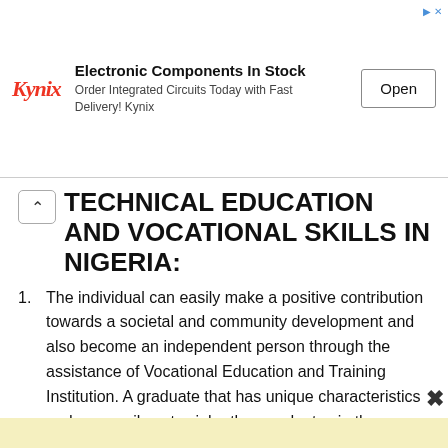[Figure (other): Kynix advertisement banner: logo 'Kynix' in red italic, headline 'Electronic Components In Stock', subtext 'Order Integrated Circuits Today with Fast Delivery! Kynix', and an 'Open' button.]
TECHNICAL EDUCATION AND VOCATIONAL SKILLS IN NIGERIA:
The individual can easily make a positive contribution towards a societal and community development and also become an independent person through the assistance of Vocational Education and Training Institution. A graduate that has unique characteristics and can easily outweigh other graduates in the group is the type of graduate an employer of labor is now looking out for instead of those that just acquire only the certificate. Right from graduation, graduates are